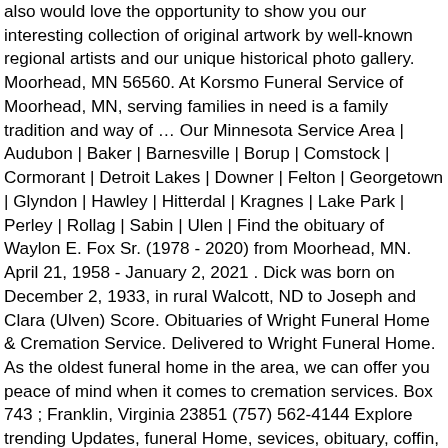also would love the opportunity to show you our interesting collection of original artwork by well-known regional artists and our unique historical photo gallery. Moorhead, MN 56560. At Korsmo Funeral Service of Moorhead, MN, serving families in need is a family tradition and way of … Our Minnesota Service Area | Audubon | Baker | Barnesville | Borup | Comstock | Cormorant | Detroit Lakes | Downer | Felton | Georgetown | Glyndon | Hawley | Hitterdal | Kragnes | Lake Park | Perley | Rollag | Sabin | Ulen | Find the obituary of Waylon E. Fox Sr. (1978 - 2020) from Moorhead, MN. April 21, 1958 - January 2, 2021 . Dick was born on December 2, 1933, in rural Walcott, ND to Joseph and Clara (Ulven) Score. Obituaries of Wright Funeral Home & Cremation Service. Delivered to Wright Funeral Home. As the oldest funeral home in the area, we can offer you peace of mind when it comes to cremation services. Box 743 ; Franklin, Virginia 23851 (757) 562-4144 Explore trending Updates, funeral Home, sevices, obituary, coffin, Bio, Wiki, Net worth Here is Leroy Gregor's obituary. ©MKJ